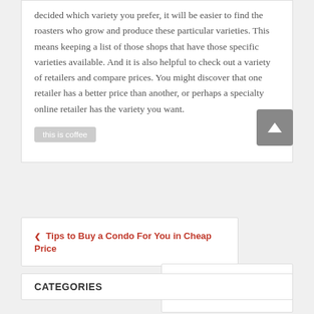decided which variety you prefer, it will be easier to find the roasters who grow and produce these particular varieties. This means keeping a list of those shops that have those specific varieties available. And it is also helpful to check out a variety of retailers and compare prices. You might discover that one retailer has a better price than another, or perhaps a specialty online retailer has the variety you want.
this is coffee
◀ Tips to Buy a Condo For You in Cheap Price
A Guide to Shenchong Machines ▶
CATEGORIES